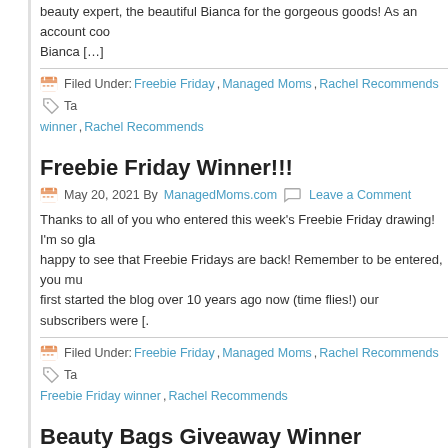beauty expert, the beautiful Bianca for the gorgeous goods! As an account coo Bianca […]
Filed Under: Freebie Friday, Managed Moms, Rachel Recommends Tags: winner, Rachel Recommends
Freebie Friday Winner!!!
May 20, 2021 By ManagedMoms.com  Leave a Comment
Thanks to all of you who entered this week's Freebie Friday drawing!  I'm so gla happy to see that Freebie Fridays are back!  Remember to be entered, you mu first started the blog over 10 years ago now (time flies!) our subscribers were [.
Filed Under: Freebie Friday, Managed Moms, Rachel Recommends Tags: Freebie Friday winner, Rachel Recommends
Beauty Bags Giveaway Winner
February 20, 2020 By ManagedMoms.com  Leave a Comment
Happy Friday! Thanks to all who entered the beauty bags drawing!  My blog rea giveaways!  Today's winner gets two bags packed with beauty product goodies types of beauty products to try out.  So who is our winner today? Who did rando